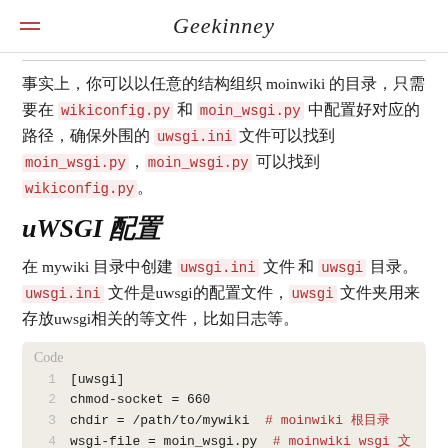Geekinney
事实上，你可以以任意的结构组织 moinwiki 的目录，只需要在 wikiconfig.py 和 moin_wsgi.py 中配置好对应的路径，确保外围的 uwsgi.ini 文件可以找到 moin_wsgi.py，moin_wsgi.py 可以找到 wikiconfig.py。
uWSGI 配置
在 mywiki 目录中创建 uwsgi.ini 文件 和 uwsgi 目录。uwsgi.ini 文件是uwsgi的配置文件，uwsgi 文件夹用来存放uwsgi相关的等文件，比如日志等。
Code
1  [uwsgi]
2  chmod-socket = 660
3  chdir = /path/to/mywiki  # moinwiki 根目录
4  wsgi-file = moin_wsgi.py  # moinwiki wsgi 文件